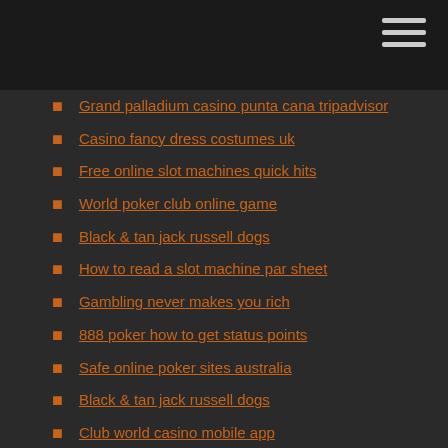Grand palladium casino punta cana tripadvisor
Casino fancy dress costumes uk
Free online slot machines quick hits
World poker club online game
Black & tan jack russell dogs
How to read a slot machine par sheet
Gambling never makes you rich
888 poker how to get status points
Safe online poker sites australia
Black & tan jack russell dogs
Club world casino mobile app
Double double bonus poker perfect strategy
Soaring eagle slot machine list
18 casino road glen forrest